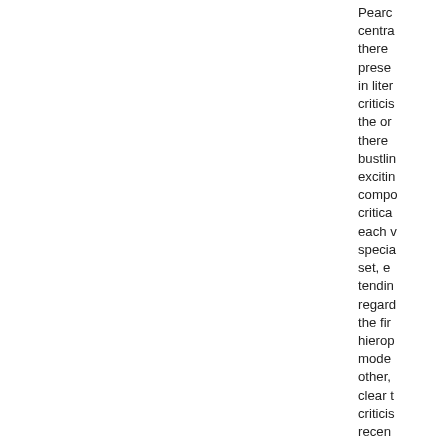Pearc centra there prese in liter criticis the or there bustlin excitin compo critica each v specia set, e tendin regard the fir hierop mode other, clear t criticis recen